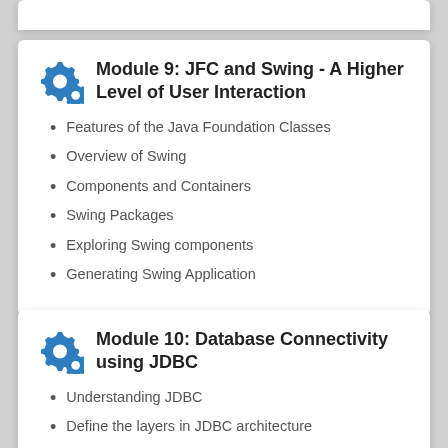Module 9: JFC and Swing - A Higher Level of User Interaction
Features of the Java Foundation Classes
Overview of Swing
Components and Containers
Swing Packages
Exploring Swing components
Generating Swing Application
Module 10: Database Connectivity using JDBC
Understanding JDBC
Define the layers in JDBC architecture